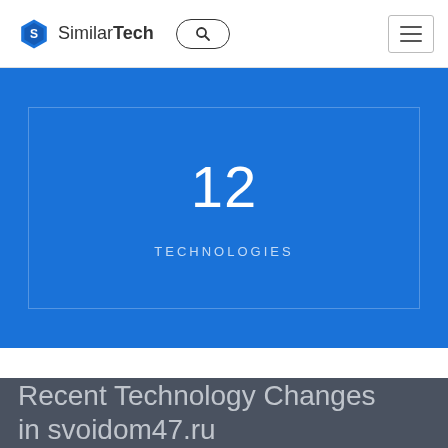SimilarTech
[Figure (infographic): Blue background panel showing the number 12 and the label TECHNOLOGIES in white text, inside a bordered box]
Recent Technology Changes in svoidom47.ru